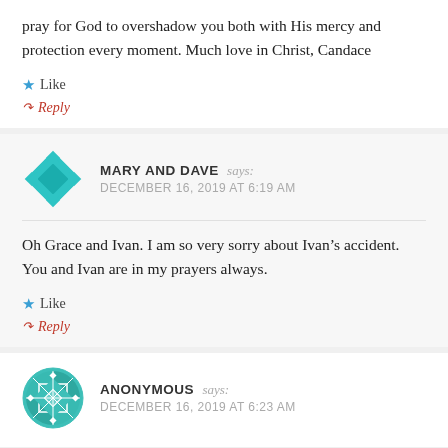pray for God to overshadow you both with His mercy and protection every moment. Much love in Christ, Candace
Like
Reply
MARY AND DAVE says: DECEMBER 16, 2019 AT 6:19 AM
Oh Grace and Ivan. I am so very sorry about Ivan’s accident. You and Ivan are in my prayers always.
Like
Reply
ANONYMOUS says: DECEMBER 16, 2019 AT 6:23 AM